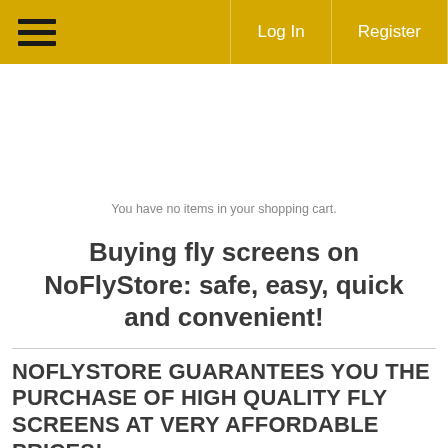☰  Log In  Register
You have no items in your shopping cart.
Buying fly screens on NoFlyStore: safe, easy, quick and convenient!
NOFLYSTORE GUARANTEES YOU THE PURCHASE OF HIGH QUALITY FLY SCREENS AT VERY AFFORDABLE PRICES!
The purchase of fly screens through our website allows you to take advantage of extremely convenient